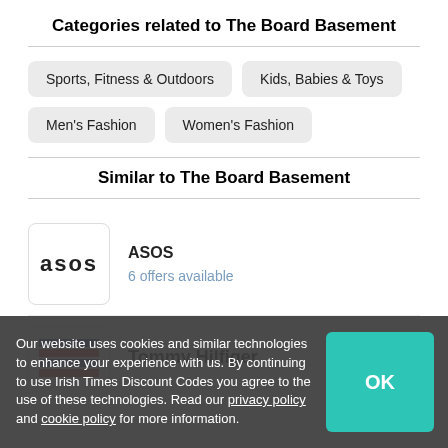Categories related to The Board Basement
Sports, Fitness & Outdoors
Kids, Babies & Toys
Men's Fashion
Women's Fashion
Similar to The Board Basement
ASOS
6 offers available
Tommy Hilfiger
Our website uses cookies and similar technologies to enhance your experience with us. By continuing to use Irish Times Discount Codes you agree to the use of these technologies. Read our privacy policy and cookie policy for more information.